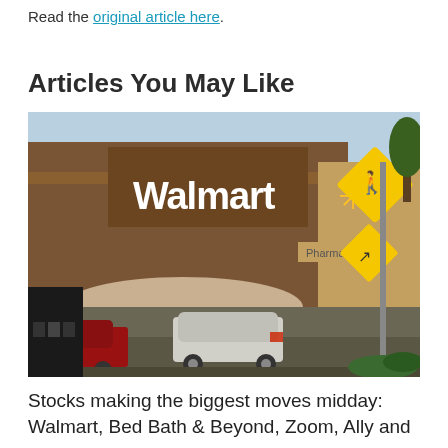Read the original article here.
Articles You May Like
[Figure (photo): Exterior photo of a Walmart store with a large Walmart logo on the brown brick facade, a pharmacy entrance visible, cars in the parking lot including a white SUV and a red car, and yellow pedestrian crossing signs on the right.]
Stocks making the biggest moves midday: Walmart, Bed Bath & Beyond, Zoom, Ally and more